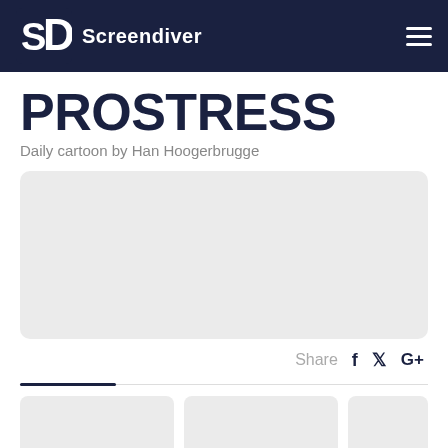Screendiver
PROSTRESS
Daily cartoon by Han Hoogerbrugge
[Figure (illustration): Light grey rounded rectangle placeholder for a cartoon image]
Share f ⬥ G+